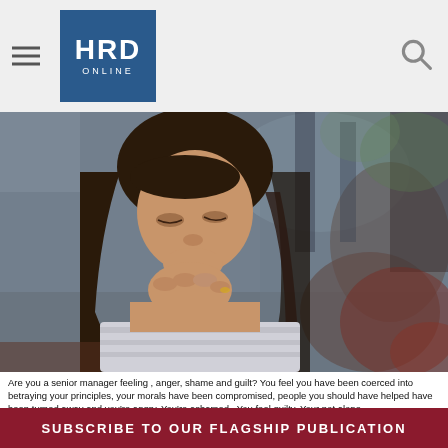HRD ONLINE
[Figure (photo): A young woman with long dark hair sitting with her hands clasped under her chin, eyes downcast, in a contemplative or worried pose. Blurred background suggests a café or indoor setting.]
Are you a senior manager feeling , anger, shame and guilt? You feel you have been coerced into betraying your principles, your morals have been compromised, people you should have helped have been turned away and you're angry. You're ashamed . You feel guilty. Your not alone.
It can happen in any job and any organisation but it's most prevalent in those professions or areas where individuals are motivated by idealism and doing something worth while,  doctors, nurses, teachers, social workers , police, people in the armed forces. These individuals take their professional values and their motivation to help, protect, to make a positive difference to people lives  into senior
SUBSCRIBE TO OUR FLAGSHIP PUBLICATION